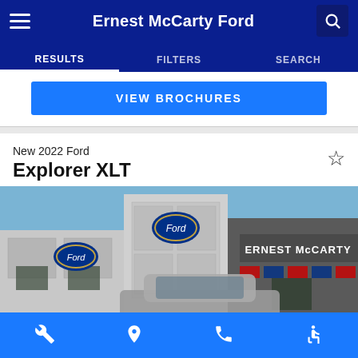Ernest McCarty Ford
RESULTS | FILTERS | SEARCH
VIEW BROCHURES
New 2022 Ford
Explorer XLT
[Figure (photo): Photo of Ernest McCarty Ford dealership building exterior with Ford logos and signage, a vehicle in the foreground, and blue sky in the background.]
Bottom toolbar with wrench, location pin, phone, and accessibility icons